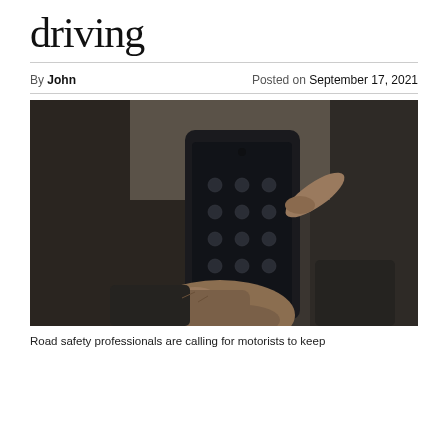driving
By John       Posted on September 17, 2021
[Figure (photo): Close-up photograph of an elderly person's hands holding and operating a smartphone, wearing a dark suit jacket, with a blurred background.]
Road safety professionals are calling for motorists to keep